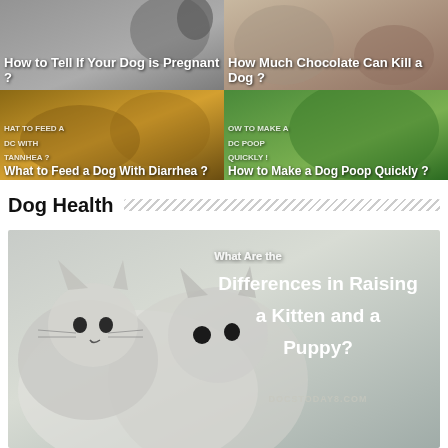[Figure (photo): 2x2 grid of dog-related article thumbnails. Top-left: How to Tell If Your Dog is Pregnant? Top-right: How Much Chocolate Can Kill a Dog? Bottom-left: What to Feed a Dog With Diarrhea? Bottom-right: How to Make a Dog Poop Quickly?]
Dog Health
[Figure (photo): Featured article image showing two white kittens/cats with overlaid text: What Are the Differences in Raising a Kitten and a Puppy? DOGSTODAY8.COM]